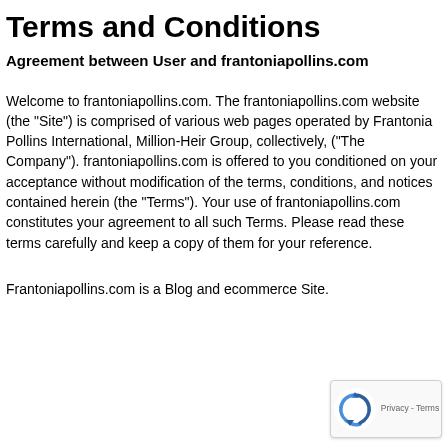Terms and Conditions
Agreement between User and frantoniapollins.com
Welcome to frantoniapollins.com. The frantoniapollins.com website (the "Site") is comprised of various web pages operated by Frantonia Pollins International, Million-Heir Group, collectively, ("The Company"). frantoniapollins.com is offered to you conditioned on your acceptance without modification of the terms, conditions, and notices contained herein (the "Terms"). Your use of frantoniapollins.com constitutes your agreement to all such Terms. Please read these terms carefully and keep a copy of them for your reference.
Frantoniapollins.com is a Blog and ecommerce Site.
[Figure (logo): Google reCAPTCHA badge with spinning arrows logo and Privacy - Terms text]